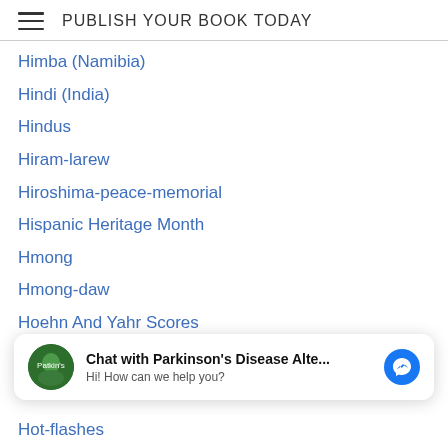PUBLISH YOUR BOOK TODAY
Himba (Namibia)
Hindi (India)
Hindus
Hiram-larew
Hiroshima-peace-memorial
Hispanic Heritage Month
Hmong
Hmong-daw
Hoehn And Yahr Scores
Homeopathy
Homeostasis-balance
Home-peace
Homosystinuria
Honduras
[Figure (screenshot): Chat widget overlay: avatar with book logo, bold text 'Chat with Parkinson's Disease Alte...', subtitle 'Hi! How can we help you?', and blue Messenger icon button]
Hot-flashes